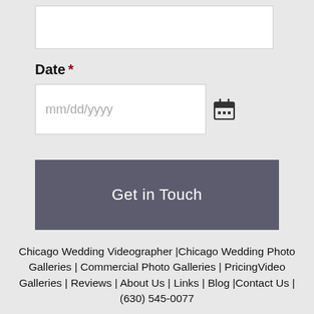[Figure (screenshot): Text input field (empty white rectangle)]
Date *
[Figure (screenshot): Date input field with placeholder mm/dd/yyyy and calendar icon]
Get in Touch
Chicago Wedding Videographer |Chicago Wedding Photo Galleries | Commercial Photo Galleries | PricingVideo Galleries | Reviews | About Us | Links | Blog |Contact Us | (630) 545-0077